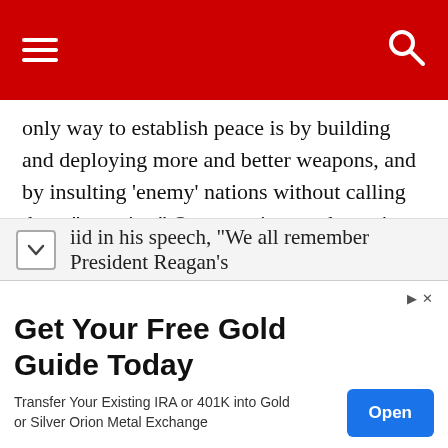[Navigation bar with hamburger menu and search icon]
only way to establish peace is by building and deploying more and better weapons, and by insulting ‘enemy’ nations without calling them “enemies.” Our enemies are the nations that are ‘provoking’ ‘peaceful’ nations: provoking the U.S., Saudi Arabia, Qatar, all of our allies. After all, Saudi Arabia, right now, is using our marvelous weapons in Yemen, to establish peace there. By using our weapons, those kindly Saudi rulers are providing jobs for American workers. It’s the only way to keep the world as peaceful as it is: it’s the American way.
iid in his speech, “We all remember President Reagan’s
[Figure (other): Advertisement banner: Get Your Free Gold Guide Today. Transfer Your Existing IRA or 401K into Gold or Silver Orion Metal Exchange. Open button.]